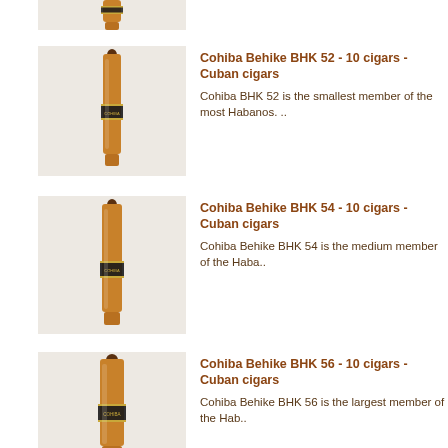[Figure (photo): Bottom portion of a Cohiba Behike cigar (cropped at top of page)]
[Figure (photo): Cohiba Behike BHK 52 cigar standing upright on beige background]
Cohiba Behike BHK 52 - 10 cigars - Cuban cigars
Cohiba BHK 52 is the smallest member of the most Habanos. ..
[Figure (photo): Cohiba Behike BHK 54 cigar standing upright on beige background]
Cohiba Behike BHK 54 - 10 cigars - Cuban cigars
Cohiba Behike BHK 54 is the medium member of the Haba..
[Figure (photo): Cohiba Behike BHK 56 cigar standing upright on beige background]
Cohiba Behike BHK 56 - 10 cigars - Cuban cigars
Cohiba Behike BHK 56 is the largest member of the Hab..